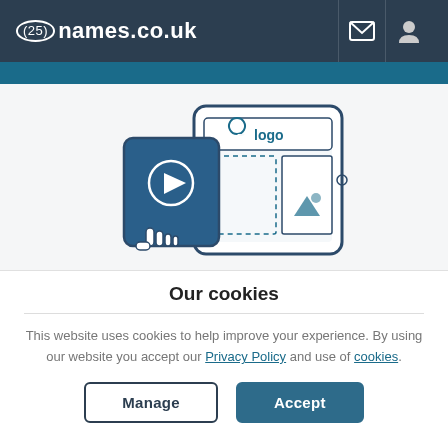(25) names.co.uk
[Figure (illustration): Illustration of a tablet and smartphone showing a website with logo, video play button, and image placeholder icons, on a light grey background]
Our cookies
This website uses cookies to help improve your experience. By using our website you accept our Privacy Policy and use of cookies.
Manage | Accept